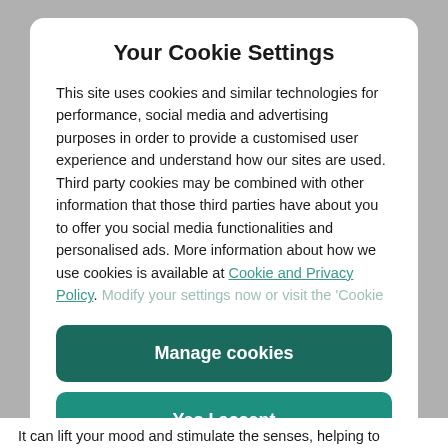Your Cookie Settings
This site uses cookies and similar technologies for performance, social media and advertising purposes in order to provide a customised user experience and understand how our sites are used. Third party cookies may be combined with other information that those third parties have about you to offer you social media functionalities and personalised ads. More information about how we use cookies is available at Cookie and Privacy Policy. Modify your settings now or visit the ‘Cookie
Manage cookies
Yes I accept
It can lift your mood and stimulate the senses, helping to